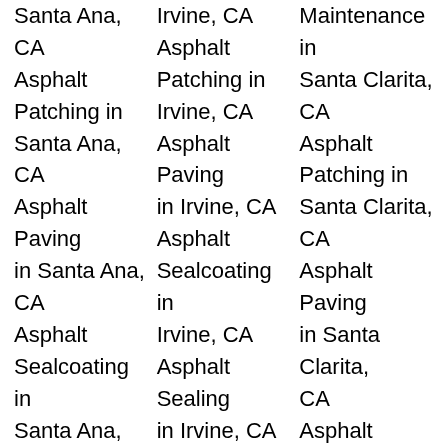Irvine, CA
Maintenance in Santa Clarita, CA
Santa Ana, CA Asphalt Patching in Santa Ana, CA
Asphalt Patching in Irvine, CA
Asphalt Patching in Santa Clarita, CA
Asphalt Paving in Santa Ana, CA
Asphalt Paving in Irvine, CA
Asphalt Paving in Santa Clarita, CA
Asphalt Sealcoating in Santa Ana, CA
Asphalt Sealcoating in Irvine, CA
Asphalt Sealcoating in Santa Clarita, CA
Asphalt Sealing in Santa Ana, CA
Asphalt Sealing in Irvine, CA
Asphalt Sealing in Santa Clarita, CA
Commercial Paving in Santa Ana, CA
Commercial Paving in Irvine, CA
Asphalt Sealcoating in Santa Clarita, CA
Commercial
Concrete
Asphalt Seali